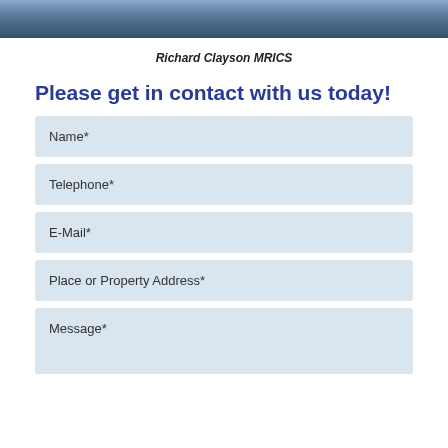[Figure (photo): Cropped photo of a person in a striped blazer, only the torso/hands visible]
Richard Clayson MRICS
Please get in contact with us today!
Name*
Telephone*
E-Mail*
Place or Property Address*
Message*